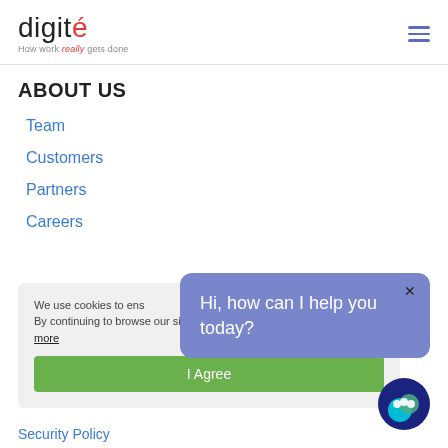digité — How work really gets done
ABOUT US
Team
Customers
Partners
Careers
We use cookies to ensure you get the best experience on our website. By continuing to browse our site you accept our cookie policy. Learn more
I Agree
Hi, how can I help you today?
Security Policy